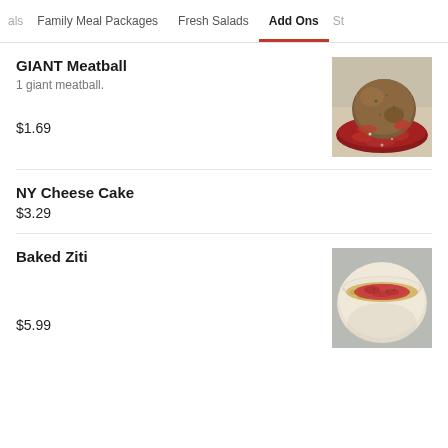als   Family Meal Packages   Fresh Salads   Add Ons   Sti
GIANT Meatball
1 giant meatball.
$1.69
[Figure (photo): Photo of a giant meatball covered in red tomato sauce]
NY Cheese Cake
$3.29
Baked Ziti
$5.99
[Figure (photo): Photo of baked ziti in a white bowl topped with red tomato sauce]